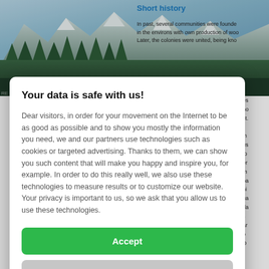[Figure (photo): Background photo of mountain landscape with snow-capped peaks and pine trees, partially visible behind a modal dialog overlay.]
Short history
In past, several communities were founded in the environs with own production of woo... Later, the colonies were united, being kno...
Your data is safe with us!
Dear visitors, in order for your movement on the Internet to be as good as possible and to show you mostly the information you need, we and our partners use technologies such as cookies or targeted advertising. Thanks to them, we can show you such content that will make you happy and inspire you, for example. In order to do this really well, we also use these technologies to measure results or to customize our website. Your privacy is important to us, so we ask that you allow us to use these technologies.
Accept
Deny
Set